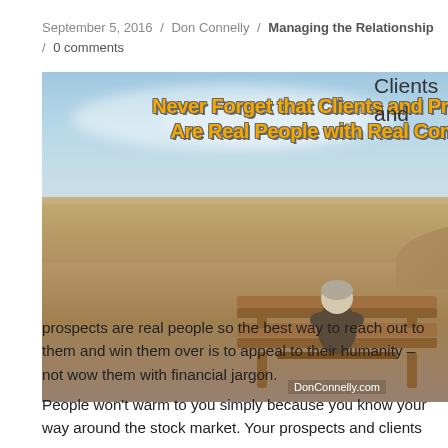September 5, 2016 / Don Connelly / Managing the Relationship / 0 comments
[Figure (illustration): Blog post featured image showing an elderly person sitting on a wooden bench in a desert/dune landscape, viewed from behind. Bold yellow text overlay reads: 'Never Forget that Clients and Prospects Are Real People with Real Concerns'. Watermark: DonConnelly.com]
Clients and prospects are real people so the best way to reach out to them and win them over is to appeal to their humanity – not wow them with financial jargon.
People won't warm to you simply because you know your way around the stock market. Your prospects and clients